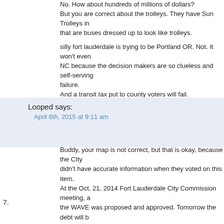No. How about hundreds of millions of dollars? But you are correct about the trolleys. They have Sun Trolleys in that are buses dressed up to look like trolleys.
silly fort lauderdale is trying to be Portland OR. Not. It won't even NC because the decision makers are so clueless and self-serving failure. And a transit tax put to county voters will fail.
7. Looped says: April 6th, 2015 at 9:11 am
Buddy, your map is not correct, but that is okay, because the City didn't have accurate information when they voted on this item. At the Oct. 21, 2014 Fort Lauderdale City Commission meeting, a the WAVE was proposed and approved. Tomorrow the debt will be Public discussion on this City funded extension was limited to abo The WAVE Loop will extend the WAVE two blocks west on Sistru Andrews from Sistrunk to 4th Street. The LOOP will allow the stre circles in Flagler Village. Users will have to walk 1-1/2 blocks to th of the three blocks as originally planned. At the public hearing, the Director Al Battle advised the City Commission that this year's $3 Operating Budget was an anomaly. He indicated that CRA operat would revert to their prior historical range $1.5-$2mm per year th an additional $1m per year that could cover the debt service. The voted to encumber $7.5m with payments of approx. $900K per ye